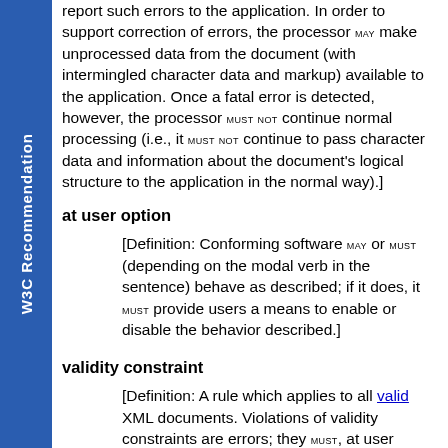report such errors to the application. In order to support correction of errors, the processor MAY make unprocessed data from the document (with intermingled character data and markup) available to the application. Once a fatal error is detected, however, the processor MUST NOT continue normal processing (i.e., it MUST NOT continue to pass character data and information about the document's logical structure to the application in the normal way).]
at user option
[Definition: Conforming software MAY or MUST (depending on the modal verb in the sentence) behave as described; if it does, it MUST provide users a means to enable or disable the behavior described.]
validity constraint
[Definition: A rule which applies to all valid XML documents. Violations of validity constraints are errors; they MUST, at user option, be reported by validating XML